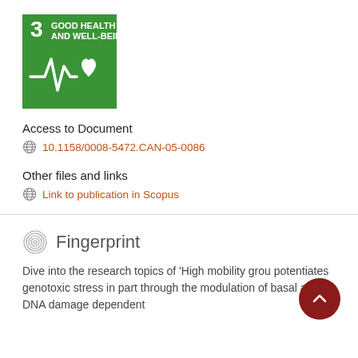[Figure (logo): UN SDG Goal 3 Good Health and Well-Being green icon with heartbeat and heart symbol]
Access to Document
10.1158/0008-5472.CAN-05-0086
Other files and links
Link to publication in Scopus
Fingerprint
Dive into the research topics of 'High mobility grou potentiates genotoxic stress in part through the modulation of basal and DNA damage dependent